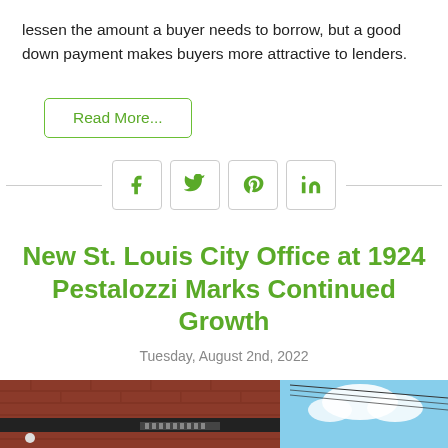lessen the amount a buyer needs to borrow, but a good down payment makes buyers more attractive to lenders.
Read More...
[Figure (infographic): Social share buttons for Facebook, Twitter, Pinterest, and LinkedIn with horizontal lines on either side]
New St. Louis City Office at 1924 Pestalozzi Marks Continued Growth
Tuesday, August 2nd, 2022
[Figure (photo): Street-level photo of a red brick building exterior with dark awnings and power lines against a blue sky with clouds]